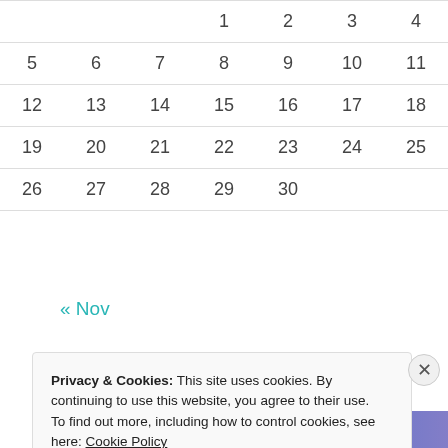|  |  |  |  |  |  |  |
| --- | --- | --- | --- | --- | --- | --- |
|  |  |  | 1 | 2 | 3 | 4 |
| 5 | 6 | 7 | 8 | 9 | 10 | 11 |
| 12 | 13 | 14 | 15 | 16 | 17 | 18 |
| 19 | 20 | 21 | 22 | 23 | 24 | 25 |
| 26 | 27 | 28 | 29 | 30 |  |  |
« Nov
Advertisements
[Figure (other): Blue to purple gradient advertisement banner]
Privacy & Cookies: This site uses cookies. By continuing to use this website, you agree to their use.
To find out more, including how to control cookies, see here: Cookie Policy
Close and accept